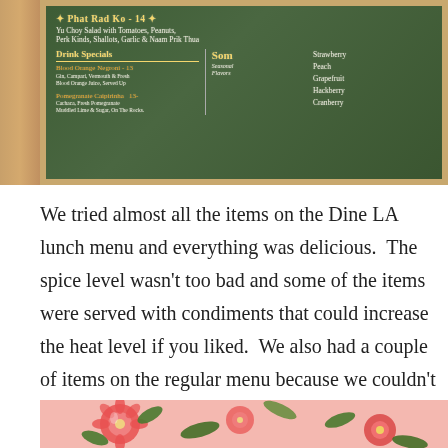[Figure (photo): A chalkboard menu showing Thai restaurant specials including Phat Rad Ko for $14 (Yu Choy Salad with Tomatoes, Peanuts, Perk Kinds, Shallots, Garlic & Naam Prik Thua), Drink Specials with Blood Orange Negroni for $13 and Som seasonal flavors including Strawberry, Peach, Grapefruit, Hackberry, Cranberry, and Pomegranate Caipirinha for $13]
We tried almost all the items on the Dine LA lunch menu and everything was delicious.  The spice level wasn't too bad and some of the items were served with condiments that could increase the heat level if you liked.  We also had a couple of items on the regular menu because we couldn't resist trying.
[Figure (photo): Bottom portion of a photo showing a floral plate or dish with red and white flowers on a pink/peach background with green leaves]